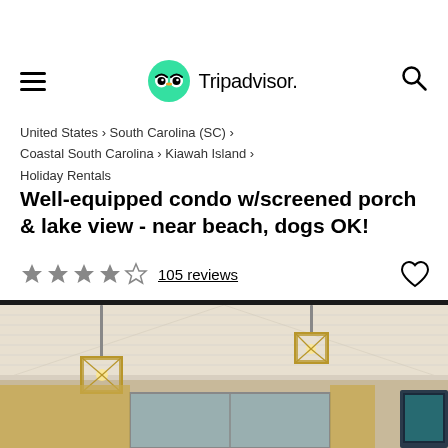Tripadvisor navigation bar
United States › South Carolina (SC) › Coastal South Carolina › Kiawah Island › Holiday Rentals
Well-equipped condo w/screened porch & lake view - near beach, dogs OK!
★★★★☆ 105 reviews
[Figure (photo): Interior photo of a condo room showing a beadboard ceiling with two gold geometric pendant lights, windows with curtains, and a wall-mounted TV visible on the right edge.]